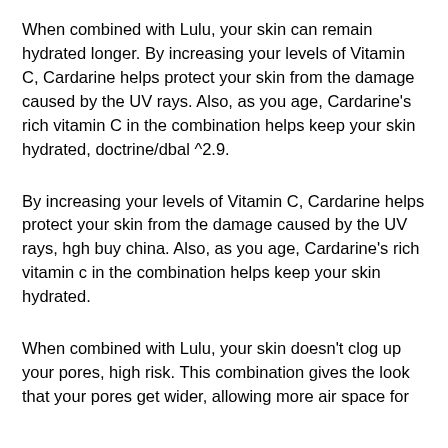When combined with Lulu, your skin can remain hydrated longer. By increasing your levels of Vitamin C, Cardarine helps protect your skin from the damage caused by the UV rays. Also, as you age, Cardarine's rich vitamin C in the combination helps keep your skin hydrated, doctrine/dbal ^2.9.
By increasing your levels of Vitamin C, Cardarine helps protect your skin from the damage caused by the UV rays, hgh buy china. Also, as you age, Cardarine's rich vitamin c in the combination helps keep your skin hydrated.
When combined with Lulu, your skin doesn't clog up your pores, high risk. This combination gives the look that your pores get wider, allowing more air space for…